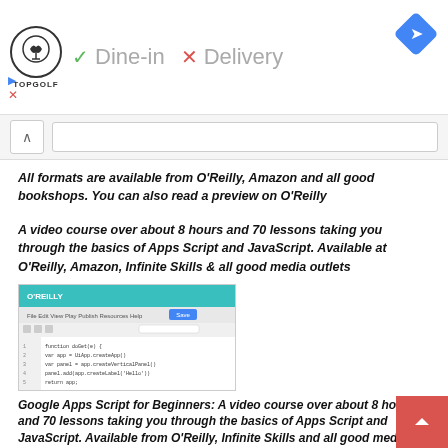[Figure (screenshot): Ad banner: Topgolf logo with checkmark Dine-in and X Delivery, blue navigation diamond icon top right, small blue play icon and red X below logo]
[Figure (screenshot): Search bar with caret/collapse button and input field]
All formats are available from O'Reilly, Amazon and all good bookshops. You can also read a preview on O'Reilly
A video course over about 8 hours and 70 lessons taking you through the basics of Apps Script and JavaScript. Available at O'Reilly, Amazon, Infinite Skills & all good media outlets
[Figure (screenshot): O'Reilly online learning platform screenshot showing code editor with Apps Script code]
Google Apps Script for Beginners: A video course over about 8 hours and 70 lessons taking you through the basics of Apps Script and JavaScript. Available from O'Reilly, Infinite Skills and all good media outlets